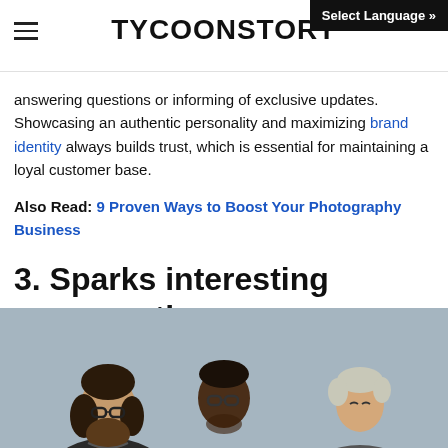TYCOONSTORY | Select Language »
answering questions or informing of exclusive updates. Showcasing an authentic personality and maximizing brand identity always builds trust, which is essential for maintaining a loyal customer base.
Also Read: 9 Proven Ways to Boost Your Photography Business
3. Sparks interesting conversations
[Figure (photo): Three people standing against a brick wall, appearing to be in conversation. From left: a bearded man with glasses and long hair, a tall Black man with glasses, and a woman with short light hair.]